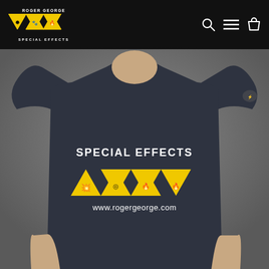Roger George Special Effects - navigation bar with logo, search, menu, and cart icons
[Figure (photo): A person wearing a dark navy/charcoal t-shirt printed with 'SPECIAL EFFECTS' text, four yellow warning triangles with hazard symbols, and 'www.rogergeorge.com' URL on the chest. A small logo is visible on the right sleeve.]